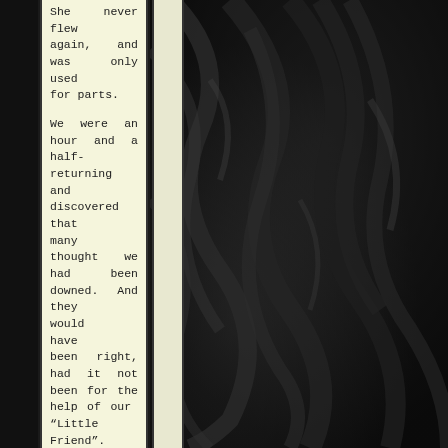She never flew again, and was only used for parts.

We were an hour and a half-returning and discovered that many thought we had been downed. And they would have been right, had it not been for the help of our "Little Friend". I regret that I never got the name of that pilot who escorted us to safe territory. It seems we had another bit of luck going for us that day. I learned that the crew chief of our plane put in an extra amount of gas.
[Figure (photo): Dark fabric or textile material with rippled/folded texture, appearing in shades of dark grey and black, occupying the right portion of the page.]